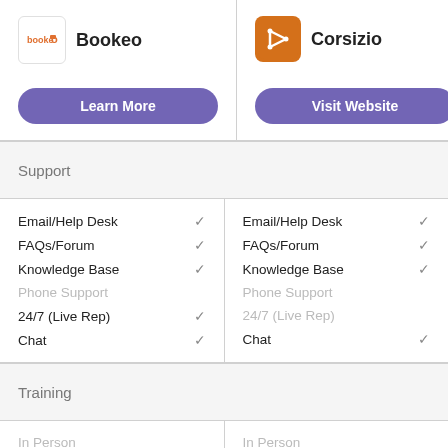[Figure (logo): Bookeo logo - text logo with orange icon]
Bookeo
Learn More
[Figure (logo): Corsizio logo - orange square with arrow icon]
Corsizio
Visit Website
Support
| Feature | Bookeo | Corsizio |
| --- | --- | --- |
| Email/Help Desk | ✓ | ✓ |
| FAQs/Forum | ✓ | ✓ |
| Knowledge Base | ✓ | ✓ |
| Phone Support |  |  |
| 24/7 (Live Rep) | ✓ |  |
| Chat | ✓ | ✓ |
Training
In Person
In Person